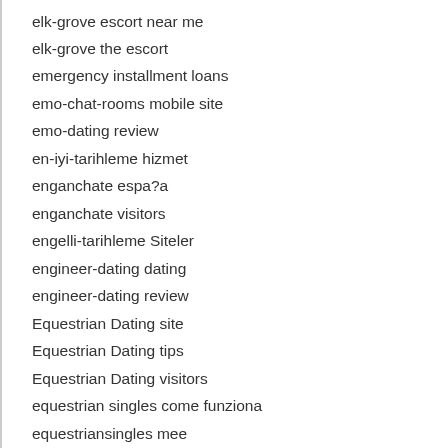elk-grove escort near me
elk-grove the escort
emergency installment loans
emo-chat-rooms mobile site
emo-dating review
en-iyi-tarihleme hizmet
enganchate espa?a
enganchate visitors
engelli-tarihleme Siteler
engineer-dating dating
engineer-dating review
Equestrian Dating site
Equestrian Dating tips
Equestrian Dating visitors
equestrian singles come funziona
equestriansingles mee
EquestrianSingles visitors
eris avis site de rencontre
Eris review
Eris visitors